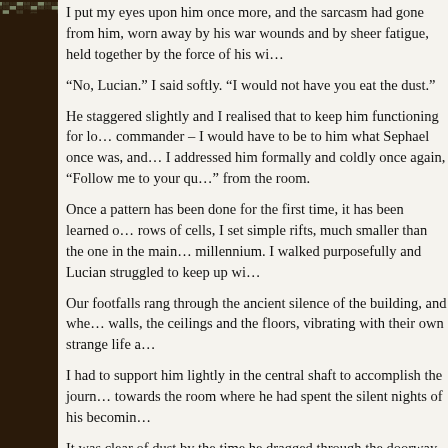I put my eyes upon him once more, and the sarcasm had gone from him, worn away by his war wounds and by sheer fatigue, held together by the force of his will.
“No, Lucian.” I said softly. “I would not have you eat the dust.”
He staggered slightly and I realised that to keep him functioning for long enough as a commander – I would have to be to him what Sephael once was, and so without further ado, I addressed him formally and coldly once again, “Follow me to your quarters,” and I swept from the room.
Once a pattern has been done for the first time, it has been learned once and for all. In the rows of cells, I set simple rifts, much smaller than the one in the main chamber, unchanged in a millennium. I walked purposefully and Lucian struggled to keep up with me.
Our footfalls rang through the ancient silence of the building, and where we passed, the walls, the ceilings and the floors, vibrating with their own strange life a…
I had to support him lightly in the central shaft to accomplish the journey upwards and towards the room where he had spent the silent nights of his becoming.
It was clear of dust by the time he dragged through the doorway.
A single silver black base in the empty square cell and a Serein type wall with a transparent section I knew could be turned opaque to let in the light of day or night, or to shut it out, this way or that.
Without hesitation, the tall man walked past me, sat on the bed and…